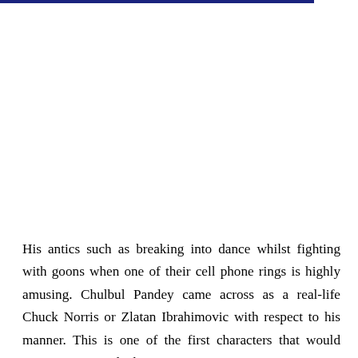His antics such as breaking into dance whilst fighting with goons when one of their cell phone rings is highly amusing. Chulbul Pandey came across as a real-life Chuck Norris or Zlatan Ibrahimovic with respect to his manner. This is one of the first characters that would come to our mind when we are